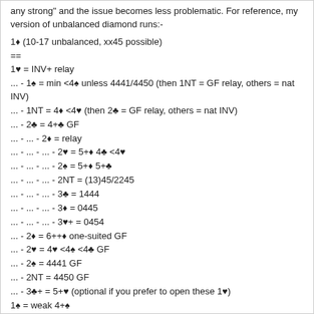any strong" and the issue becomes less problematic. For reference, my version of unbalanced diamond runs:-
1♦ (10-17 unbalanced, xx45 possible)
==
1♥ = INV+ relay
... - 1♠ = min <4♠ unless 4441/4450 (then 1NT = GF relay, others = nat INV)
... - 1NT = 4♦ <4♥ (then 2♣ = GF relay, others = nat INV)
... - 2♣ = 4+♣ GF
... - ... - 2♦ = relay
... - ... - ... - 2♥ = 5+♦ 4♣ <4♥
... - ... - ... - 2♠ = 5+♦ 5+♣
... - ... - ... - 2NT = (13)45/2245
... - ... - ... - 3♣ = 1444
... - ... - ... - 3♦ = 0445
... - ... - ... - 3♥+ = 0454
... - 2♦ = 6++♦ one-suited GF
... - 2♥ = 4♥ <4♠ <4♣ GF
... - 2♠ = 4441 GF
... - 2NT = 4450 GF
... - 3♣+ = 5+♥ (optional if you prefer to open these 1♥)
1♠ = weak 4+♠